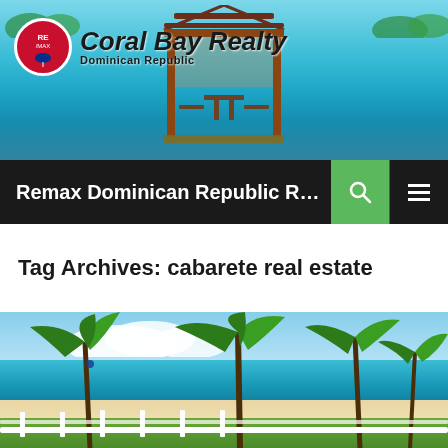[Figure (photo): Header image showing a tropical beach with turquoise water and a wooden gazebo/pavilion in the background with Coral Bay Realty logo overlay]
Remax Dominican Republic Real Estate b...
Tag Archives: cabarete real estate
[Figure (photo): Tropical beach scene with palm trees, white sandy beach, turquoise ocean water, and a white railing in the foreground. A parasailer is visible in the sky.]